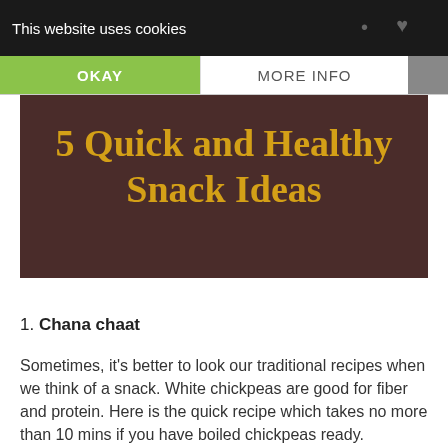This website uses cookies
[Figure (illustration): Cookie consent banner with OKAY and MORE INFO buttons over a dark navigation bar with social media icons]
5 Quick and Healthy Snack Ideas
1. Chana chaat
Sometimes, it's better to look our traditional recipes when we think of a snack. White chickpeas are good for fiber and protein. Here is the quick recipe which takes no more than 10 mins if you have boiled chickpeas ready.
Ingredients:
Boiled chickpeas - 1 cup
small onion - 1, (chopped)